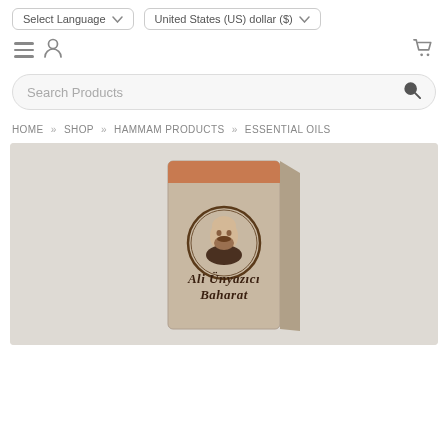Select Language ∨   United States (US) dollar ($) ∨
≡  [user icon]   [cart icon]
Search Products
HOME » SHOP » HAMMAM PRODUCTS » ESSENTIAL OILS
[Figure (photo): Product photo of Ali Ünyazıcı Baharat spice/essential oil box with a branded logo showing a man's portrait in a circular emblem, on a beige/grey background.]